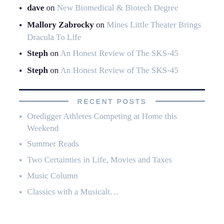dave on New Biomedical & Biotech Degree
Mallory Zabrocky on Mines Little Theater Brings Dracula To Life
Steph on An Honest Review of The SKS-45
Steph on An Honest Review of The SKS-45
RECENT POSTS
Oredigger Athletes Competing at Home this Weekend
Summer Reads
Two Certainties in Life, Movies and Taxes
Music Column
Classics with a Musicalt…